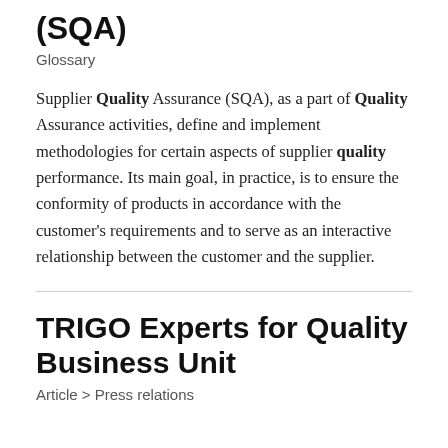(SQA)
Glossary
Supplier Quality Assurance (SQA), as a part of Quality Assurance activities, define and implement methodologies for certain aspects of supplier quality performance. Its main goal, in practice, is to ensure the conformity of products in accordance with the customer's requirements and to serve as an interactive relationship between the customer and the supplier.
TRIGO Experts for Quality Business Unit
Article > Press relations